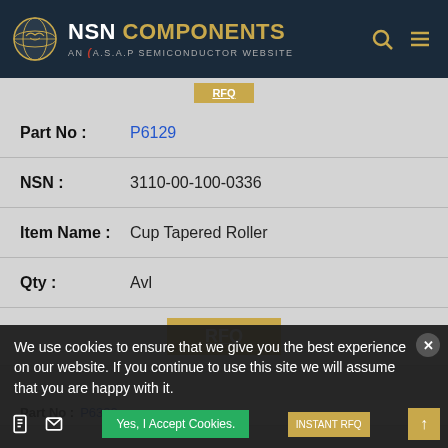NSN COMPONENTS — AN A.S.A.P SEMICONDUCTOR WEBSITE
| Field | Value |
| --- | --- |
| Part No: | P6129 |
| NSN: | 3110-00-100-0336 |
| Item Name: | Cup Tapered Roller |
| Qty: | Avl |
RFQ
Part No: P6380
We use cookies to ensure that we give you the best experience on our website. If you continue to use this site we will assume that you are happy with it.
Yes, I Accept Cookies.
INSTANT RFQ